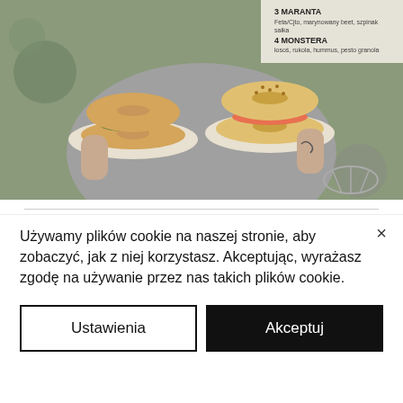[Figure (photo): Person in grey apron holding two plates with bagel sandwiches; a menu board visible in background with items '3 Maranta' and '4 Monstera']
Restauracja BulwaR
Stary Rynek 37, 61-772 Poznań
telefon: +48 533 181 171 | e-mail:
rezerwacje@bulwarrestauracja.pl
www.bulwarrestauracja.pl |
Używamy plików cookie na naszej stronie, aby zobaczyć, jak z niej korzystasz. Akceptując, wyrażasz zgodę na używanie przez nas takich plików cookie.
Ustawienia
Akceptuj